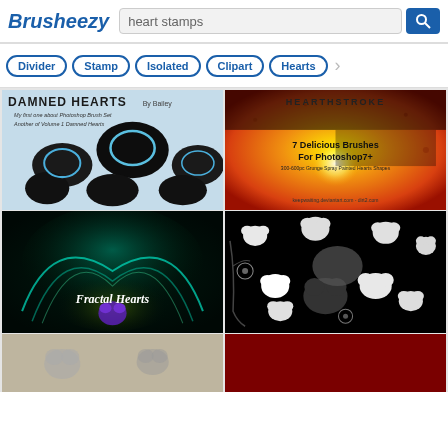Brusheezy — heart stamps
Divider
Stamp
Isolated
Clipart
Hearts
[Figure (screenshot): Damned Hearts Photoshop brush set thumbnail — grunge heart shapes on a light blue splattered background with title text 'DAMNED HEARTS By Bailey']
[Figure (screenshot): Heart grunge brushes thumbnail — colorful warm orange/red/yellow grunge background with glowing heart and text '7 Delicious Brushes For Photoshop7+', '300-600pc Grunge Spray Painted Hearts Shapes', credit 'keepwaiting.deviantart.com - dirt2.com']
[Figure (screenshot): Fractal Hearts brush set thumbnail — dark background with swirling teal and gold fractal light shapes forming a heart, text 'Fractal Hearts']
[Figure (screenshot): Heart and flower brushes thumbnail — black background with white heart shapes, flower stamps, and a grey cloud/flower shape]
[Figure (screenshot): Partial thumbnail — grey/cream tones, bottom row left image]
[Figure (screenshot): Partial thumbnail — dark red background, bottom row right image]